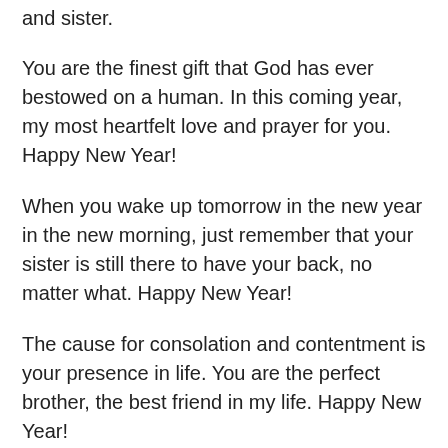and sister.
You are the finest gift that God has ever bestowed on a human. In this coming year, my most heartfelt love and prayer for you. Happy New Year!
When you wake up tomorrow in the new year in the new morning, just remember that your sister is still there to have your back, no matter what. Happy New Year!
The cause for consolation and contentment is your presence in life. You are the perfect brother, the best friend in my life. Happy New Year!
Happy New Year Messages for Teacher